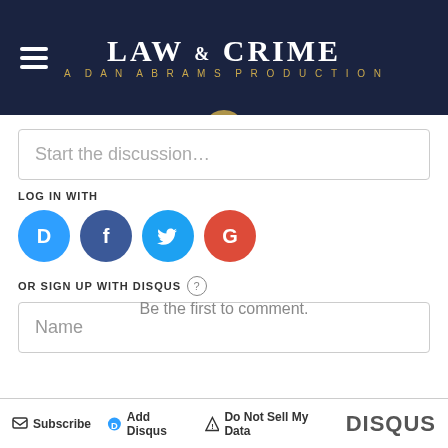[Figure (logo): Law & Crime - A Dan Abrams Production logo on dark navy background with hamburger menu icon]
Start the discussion…
LOG IN WITH
[Figure (infographic): Social login icons: Disqus (blue), Facebook (dark blue), Twitter (light blue), Google (red)]
OR SIGN UP WITH DISQUS
Name
Be the first to comment.
Subscribe  Add Disqus  Do Not Sell My Data  DISQUS